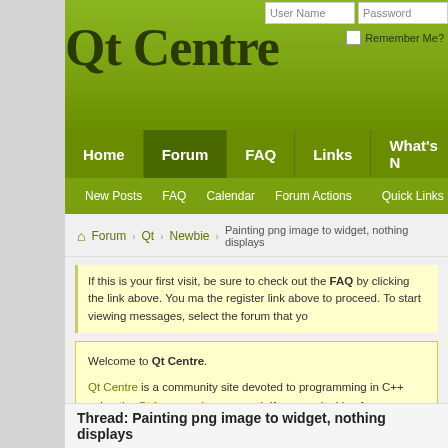Qt Centre
If this is your first visit, be sure to check out the FAQ by clicking the link above. You may have to register before you can post: click the register link above to proceed. To start viewing messages, select the forum that you
Welcome to Qt Centre.

Qt Centre is a community site devoted to programming in C++ using the Qt framework. answered. If you are looking for information about Qt related issue — register and pos

You are currently viewing our boards as a guest which gives you limited access to view features. By joining our free community you will have access to post topics, communica respond to polls, upload content and access many other special features. Registration join our community today!

If you have any problems with the registration process or your account login, please co
Thread: Painting png image to widget, nothing displays